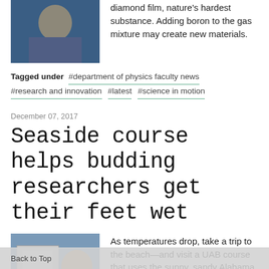[Figure (photo): Person in lab coat against blue background]
diamond film, nature's hardest substance. Adding boron to the gas mixture may create new materials.
Tagged under #department of physics faculty news #research and innovation #latest #science in motion
December 07, 2017
Seaside course helps budding researchers get their feet wet
[Figure (photo): Students working on equipment near the coast]
As temperatures drop, take a trip to the beach—and visit a UAB course that uses the sunny, sandy Alabama Gulf coast to teach neuroscience.
Back to Top